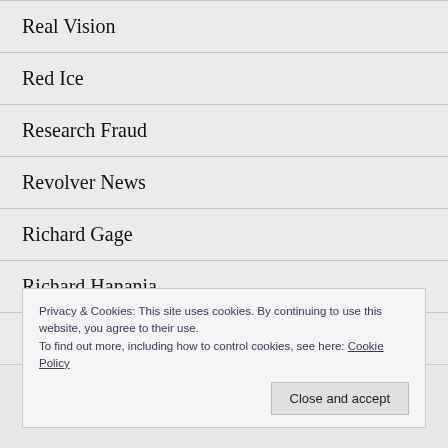Real Vision
Red Ice
Research Fraud
Revolver News
Richard Gage
Richard Hanania
Richard Spencer
Privacy & Cookies: This site uses cookies. By continuing to use this website, you agree to their use.
To find out more, including how to control cookies, see here: Cookie Policy
Close and accept